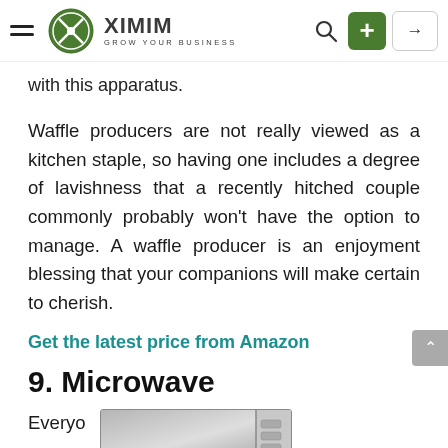XIMIM — GROW YOUR BUSINESS
with this apparatus.
Waffle producers are not really viewed as a kitchen staple, so having one includes a degree of lavishness that a recently hitched couple commonly probably won't have the option to manage. A waffle producer is an enjoyment blessing that your companions will make certain to cherish.
Get the latest price from Amazon
9. Microwave
Everyo